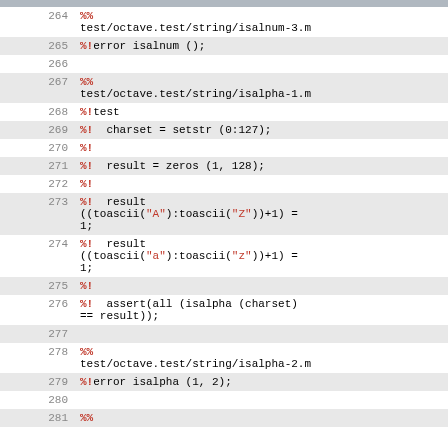264  %% test/octave.test/string/isalnum-3.m
265  %!error isalnum ();
266
267  %% test/octave.test/string/isalpha-1.m
268  %!test
269  %!  charset = setstr (0:127);
270  %!
271  %!  result = zeros (1, 128);
272  %!
273  %!  result ((toascii("A"):toascii("Z"))+1) = 1;
274  %!  result ((toascii("a"):toascii("z"))+1) = 1;
275  %!
276  %!  assert(all (isalpha (charset) == result));
277
278  %% test/octave.test/string/isalpha-2.m
279  %!error isalpha (1, 2);
280
281  %%